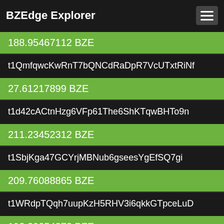BZEdge Explorer
188.95467112 BZE
t1QmfqwcKwRnT7bQNCdRaDpR7VcUTxtRiNf
27.61217899 BZE
t1d42cACtnHzg6VFp61The6ShKTqwBHTo9n
211.23452312 BZE
t1SbjKga47GCYrjMBNub6gseesYgEfSQ7gi
209.76088865 BZE
t1WRdpTQqh7uupKzH5RHV3i6qkkGTpceLuD
192.20054373 BZE
t1bZJ6ZN3V5pQbsLRgYchgve5BA5PWnzN9D
79.74625824 BZE